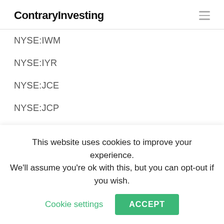ContraryInvesting
NYSE:IWM
NYSE:IYR
NYSE:JCE
NYSE:JCP
NYSE:JEF
NYSE:JEQ
NYSE:JETS
NYSE:JFR
NYSE:JGH (partial)
This website uses cookies to improve your experience. We'll assume you're ok with this, but you can opt-out if you wish. Cookie settings ACCEPT